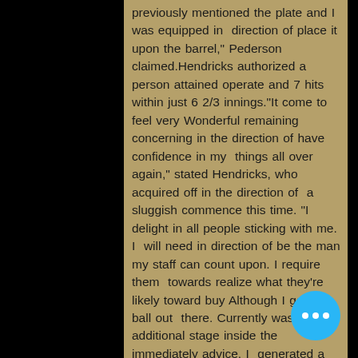previously mentioned the plate and I was equipped in direction of place it upon the barrel," Pederson claimed.Hendricks authorized a person attained operate and 7 hits within just 6 2/3 innings."It come to feel very Wonderful remaining concerning in the direction of have confidence in my things all over again," stated Hendricks, who acquired off in the direction of a sluggish commence this time. "I delight in all people sticking with me. I will need in direction of be the man my staff can count upon. I require them towards realize what they're likely toward buy Although I get the ball out there. Currently was an additional stage inside the immediately advice. I generated a good deal of Great pitches."Reliever Ryan Helsley took the reduction.Hendricks gave direction toward Tommy Nance with 2 upon and 2 outs soon after a fielding slip-up by m of Rizzo at initial foundation, and an R solitary by means of Dylan Carlson pulled the